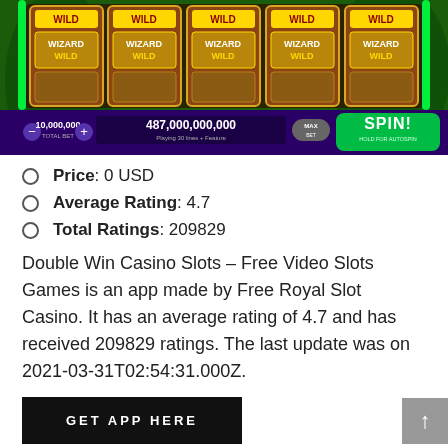[Figure (screenshot): Double Win Casino Slots game screenshot showing slot machine reels with WILD and WIZARD WILD symbols, displaying balance of 487,000,000,000, bet of 10,000,000, with SPIN button]
Price: 0 USD
Average Rating: 4.7
Total Ratings: 209829
Double Win Casino Slots – Free Video Slots Games is an app made by Free Royal Slot Casino. It has an average rating of 4.7 and has received 209829 ratings. The last update was on 2021-03-31T02:54:31.000Z.
[Figure (other): GET APP HERE black button]